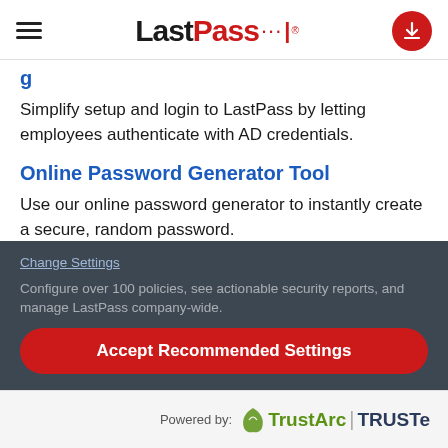LastPass (logo with hamburger menu and download button)
[partial, cropped at top]
Simplify setup and login to LastPass by letting employees authenticate with AD credentials.
Online Password Generator Tool
Use our online password generator to instantly create a secure, random password.
User Management
Configure over 100 policies, see actionable security reports, and manage LastPass company-wide.
Change Settings
Accept Recommended Settings
Powered by: TrustArc | TRUSTe